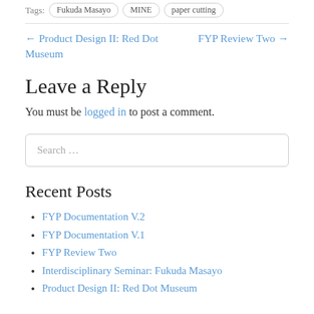Tags: Fukuda Masayo, MINE, paper cutting
← Product Design II: Red Dot Museum    FYP Review Two →
Leave a Reply
You must be logged in to post a comment.
Search …
Recent Posts
FYP Documentation V.2
FYP Documentation V.1
FYP Review Two
Interdisciplinary Seminar: Fukuda Masayo
Product Design II: Red Dot Museum